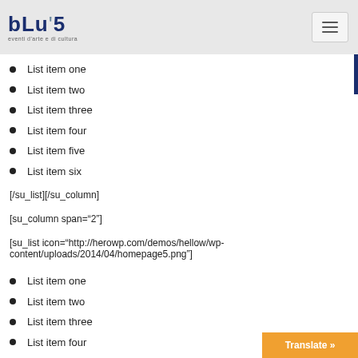BLU'S eventi d'arte e di cultura
List item one
List item two
List item three
List item four
List item five
List item six
[/su_list][/su_column]
[su_column span="2"]
[su_list icon="http://herowp.com/demos/hellow/wp-content/uploads/2014/04/homepage5.png"]
List item one
List item two
List item three
List item four